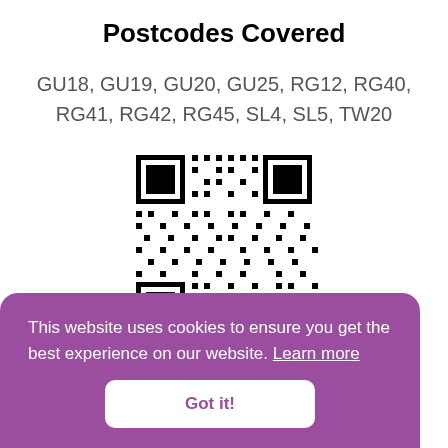Postcodes Covered
GU18, GU19, GU20, GU25, RG12, RG40, RG41, RG42, RG45, SL4, SL5, TW20
[Figure (other): QR code for a website]
This website uses cookies to ensure you get the best experience on our website. Learn more
Got it!